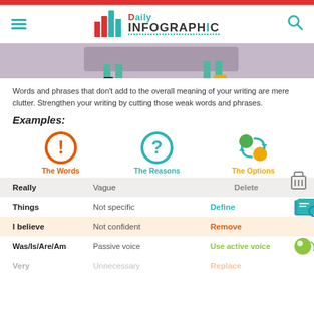Daily Infographic
[Figure (illustration): Partial view of an infographic illustration showing legs/feet of a person standing by a tablet or screen]
Words and phrases that don't add to the overall meaning of your writing are mere clutter. Strengthen your writing by cutting those weak words and phrases.
Examples:
[Figure (infographic): Three column icons: The Words (orange exclamation circle), The Reasons (teal question mark circle), The Options (green and orange circles with arrows)]
| The Words | The Reasons | The Options |
| --- | --- | --- |
| Really | Vague | Delete |
| Things | Not specific | Define |
| I believe | Not confident | Remove |
| Was/Is/Are/Am | Passive voice | Use active voice |
| Very | Unnecessary | Replace |